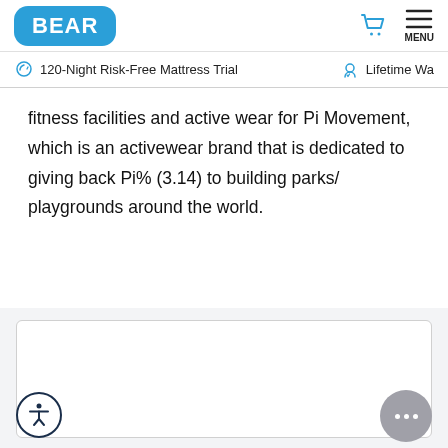BEAR
120-Night Risk-Free Mattress Trial   Lifetime Wa...
fitness facilities and active wear for Pi Movement, which is an activewear brand that is dedicated to giving back Pi% (3.14) to building parks/ playgrounds around the world.
[Figure (screenshot): Embedded content box (white rounded rectangle on gray background)]